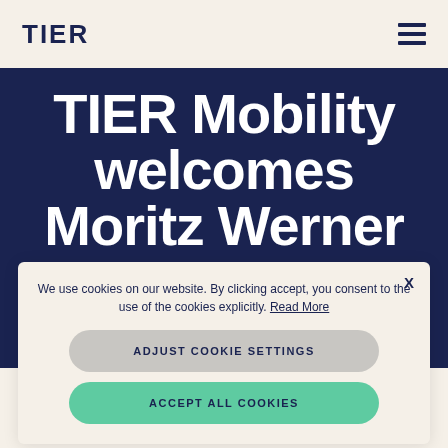TIER
TIER Mobility welcomes Moritz Werner
We use cookies on our website. By clicking accept, you consent to the use of the cookies explicitly. Read More
ADJUST COOKIE SETTINGS
ACCEPT ALL COOKIES